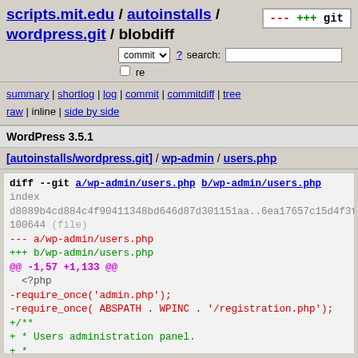scripts.mit.edu / autoinstalls / wordpress.git / blobdiff
commit ? search: re
summary | shortlog | log | commit | commitdiff | tree
raw | inline | side by side
WordPress 3.5.1
[autoinstalls/wordpress.git] / wp-admin / users.php
diff --git a/wp-admin/users.php b/wp-admin/users.php
index d8089b4cd884c4f90411348bd646d87d301151aa..6ea17657c15d4f3fd7
100644 (file)
--- a/wp-admin/users.php
+++ b/wp-admin/users.php
@@ -1,57 +1,133 @@
  <?php
-require_once('admin.php');
-require_once( ABSPATH . WPINC . '/registration.php');
+/**
+ * Users administration panel.
+ *
+ * @package WordPress
+ * @subpackage Administration
+ */

 if ( !current_user_can('edit_users') )